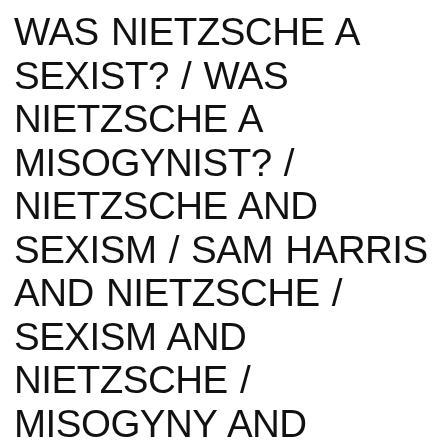WAS NIETZSCHE A SEXIST? / WAS NIETZSCHE A MISOGYNIST? / NIETZSCHE AND SEXISM / SAM HARRIS AND NIETZSCHE / SEXISM AND NIETZSCHE / MISOGYNY AND NIETZSCHE / NIETZSCHE AND MISOGYNY / NIETZSCHE AND SEXISM / NIETZSCHE AND FEMINISM / FEMINISM AND NIETZSCHE / FRIEDRICH NIETZSCHE ON WOMEN / FRIEDRICH NIETZSCHE AND SAM HARRIS / IS SAM HARRIS INFLUENCED BY NIETZSCHE?